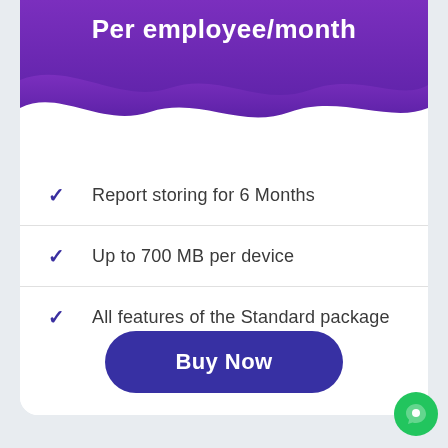[Figure (illustration): Purple wave/blob header background with text 'Per employee/month' in white]
Report storing for 6 Months
Up to 700 MB per device
All features of the Standard package
Buy Now